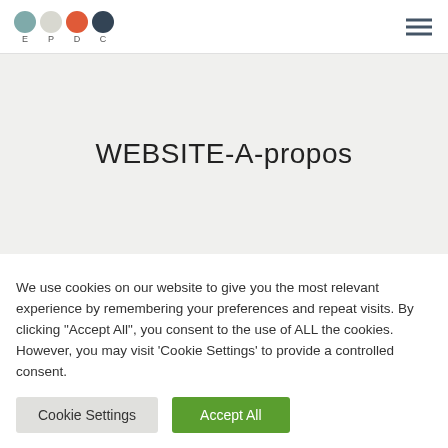EPDC logo with hamburger menu
WEBSITE-A-propos
We use cookies on our website to give you the most relevant experience by remembering your preferences and repeat visits. By clicking "Accept All", you consent to the use of ALL the cookies. However, you may visit 'Cookie Settings' to provide a controlled consent.
Cookie Settings
Accept All